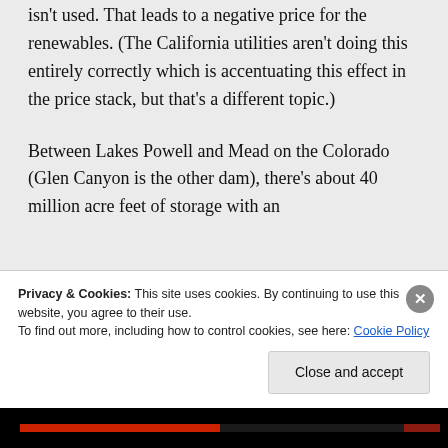isn't used. That leads to a negative price for the renewables. (The California utilities aren't doing this entirely correctly which is accentuating this effect in the price stack, but that's a different topic.)

Between Lakes Powell and Mead on the Colorado (Glen Canyon is the other dam), there's about 40 million acre feet of storage with an average flow in the Colorado...
Privacy & Cookies: This site uses cookies. By continuing to use this website, you agree to their use.
To find out more, including how to control cookies, see here: Cookie Policy